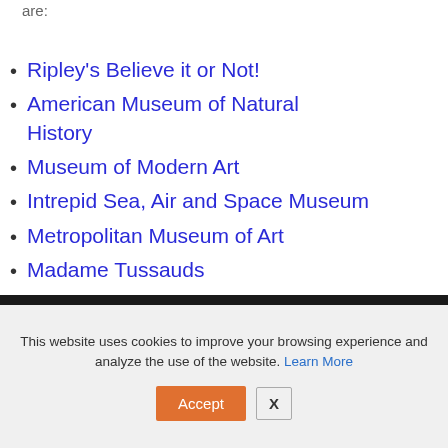are:
Ripley's Believe it or Not!
American Museum of Natural History
Museum of Modern Art
Intrepid Sea, Air and Space Museum
Metropolitan Museum of Art
Madame Tussauds
[Figure (screenshot): Dark banner with THE logo (red and white circular emblem)]
This website uses cookies to improve your browsing experience and analyze the use of the website. Learn More
Accept  X